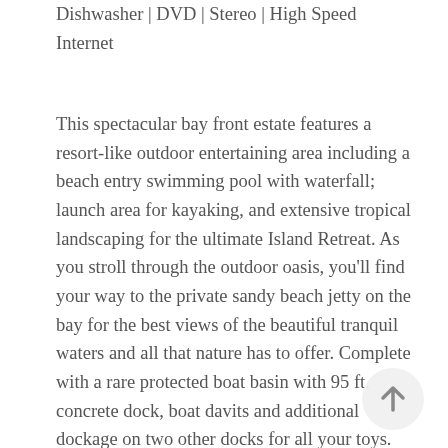Dishwasher | DVD | Stereo | High Speed Internet
This spectacular bay front estate features a resort-like outdoor entertaining area including a beach entry swimming pool with waterfall; launch area for kayaking, and extensive tropical landscaping for the ultimate Island Retreat. As you stroll through the outdoor oasis, you'll find your way to the private sandy beach jetty on the bay for the best views of the beautiful tranquil waters and all that nature has to offer. Complete with a rare protected boat basin with 95 ft. concrete dock, boat davits and additional dockage on two other docks for all your toys.